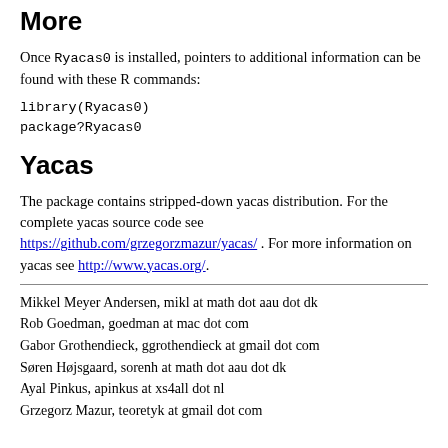More
Once Ryacas0 is installed, pointers to additional information can be found with these R commands:
library(Ryacas0)
package?Ryacas0
Yacas
The package contains stripped-down yacas distribution. For the complete yacas source code see https://github.com/grzegorzmazur/yacas/ . For more information on yacas see http://www.yacas.org/.
Mikkel Meyer Andersen, mikl at math dot aau dot dk
Rob Goedman, goedman at mac dot com
Gabor Grothendieck, ggrothendieck at gmail dot com
Søren Højsgaard, sorenh at math dot aau dot dk
Ayal Pinkus, apinkus at xs4all dot nl
Grzegorz Mazur, teoretyk at gmail dot com